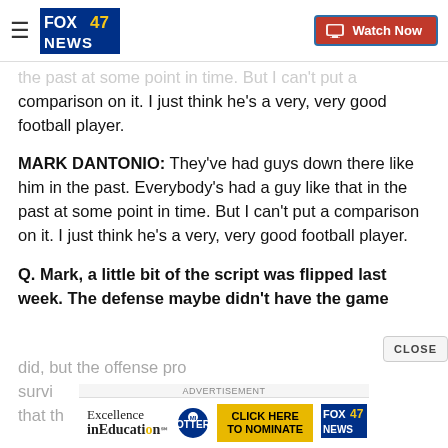FOX 47 NEWS | Watch Now
the past at some point in time. But I can't put a comparison on it. I just think he's a very, very good football player.
MARK DANTONIO: They've had guys down there like him in the past. Everybody's had a guy like that in the past at some point in time. But I can't put a comparison on it. I just think he's a very, very good football player.
Q. Mark, a little bit of the script was flipped last week. The defense maybe didn't have the game did, but the offense probably, maybe they can survive that. Is there something encouraging about that th
[Figure (logo): Advertisement banner: Excellence in Education with FOX 47 News and Michigan Lottery, Click Here To Nominate button]